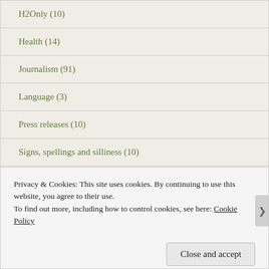H2Only (10)
Health (14)
Journalism (91)
Language (3)
Press releases (10)
Signs, spellings and silliness (10)
Social media (5)
Staffordshire (19)
Privacy & Cookies: This site uses cookies. By continuing to use this website, you agree to their use.
To find out more, including how to control cookies, see here: Cookie Policy
Close and accept